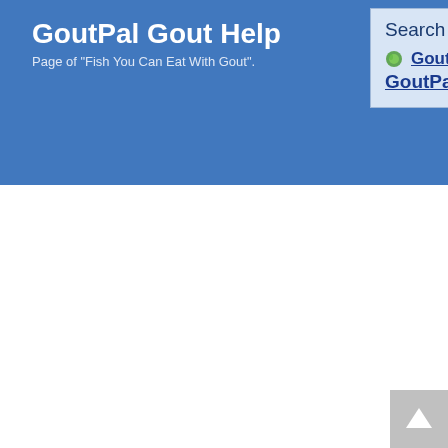GoutPal Gout Help
Page of "Fish You Can Eat With Gout".
Search GoutPal
GoutPal Gout Search Or see GoutPal Gout Search Tips.
[Figure (other): Back to top button arrow in grey square at bottom right]